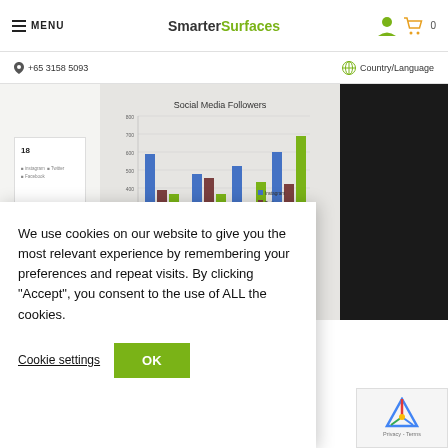MENU | SmarterSurfaces | [user icon] [cart icon] 0
+65 3158 5093 | Country/Language
[Figure (screenshot): Website screenshot showing a grouped bar chart titled 'Social Media Followers' with bars for Instagram, Twitter, and Facebook across Q1-Q4, displayed on a whiteboard/screen in a dark background setting, with a document panel on the left.]
We use cookies on our website to give you the most relevant experience by remembering your preferences and repeat visits. By clicking “Accept”, you consent to the use of ALL the cookies.
Cookie settings
OK